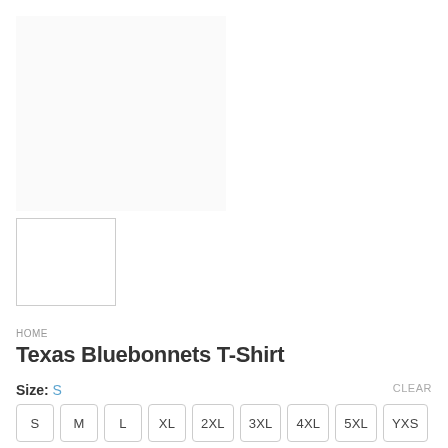[Figure (photo): Product image area for Texas Bluebonnets T-Shirt (blank/white placeholder)]
[Figure (photo): Small thumbnail image placeholder with grey border]
HOME
Texas Bluebonnets T-Shirt
Size: S
CLEAR
S
M
L
XL
2XL
3XL
4XL
5XL
YXS
YS